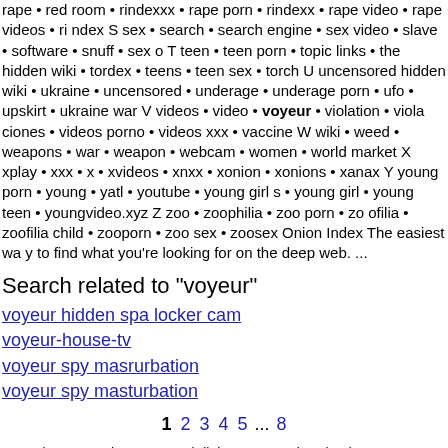rape • red room • rindexxx • rape porn • rindexx • rape video • rape videos • rindex S sex • search • search engine • sex video • slave • software • snuff • sex o T teen • teen porn • topic links • the hidden wiki • tordex • teens • teen sex • torch U uncensored hidden wiki • ukraine • uncensored • underage • underage porn • ufo • upskirt • ukraine war V videos • video • voyeur • violation • violaciones • videos porno • videos xxx • vaccine W wiki • weed • weapons • war • weapon • webcam • women • world market X xplay • xxx • x • xvideos • xnxx • xonion • xonions • xanax Y young porn • young • yatl • youtube • young girl s • young girl • young teen • youngvideo.xyz Z zoo • zoophilia • zoo porn • zoofilia • zoofilia child • zooporn • zoo sex • zoosex Onion Index The easiest way to find what you're looking for on the deep web. ...
Search related to "voyeur"
voyeur hidden spa locker cam
voyeur-house-tv
voyeur spy masrurbation
voyeur spy masturbation
1 2 3 4 5 ... 8
* To browse .onion Deep Web links, you can download Tor Browser.